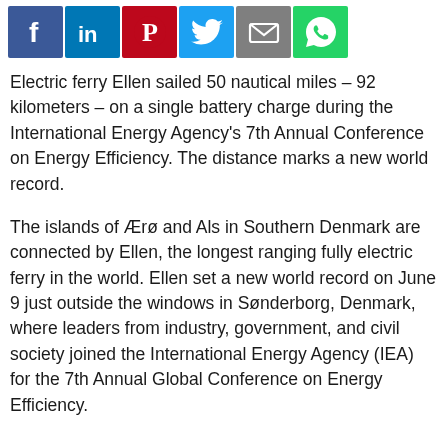[Figure (other): Social media share icons: Facebook, LinkedIn, Pinterest, Twitter, Email, WhatsApp]
Electric ferry Ellen sailed 50 nautical miles – 92 kilometers – on a single battery charge during the International Energy Agency's 7th Annual Conference on Energy Efficiency. The distance marks a new world record.
The islands of Ærø and Als in Southern Denmark are connected by Ellen, the longest ranging fully electric ferry in the world. Ellen set a new world record on June 9 just outside the windows in Sønderborg, Denmark, where leaders from industry, government, and civil society joined the International Energy Agency (IEA) for the 7th Annual Global Conference on Energy Efficiency.